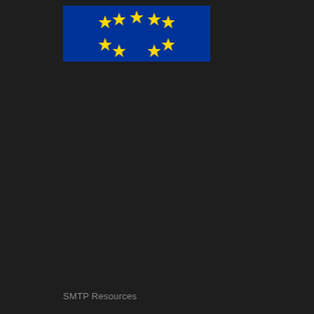[Figure (logo): European Union flag — blue rectangular background with a circle of gold/yellow stars arranged in an arc pattern]
SMTP Resources